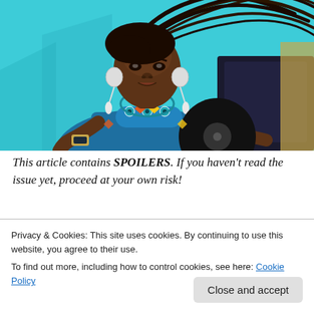[Figure (illustration): Illustrated portrait of a Black woman with long braided hair blowing in the wind, wearing decorative beaded necklace and blue patterned top, holding a vinyl record, on a teal/cyan background. Artistic comic-book style illustration.]
This article contains SPOILERS. If you haven't read the issue yet, proceed at your own risk!
Privacy & Cookies: This site uses cookies. By continuing to use this website, you agree to their use.
To find out more, including how to control cookies, see here: Cookie Policy